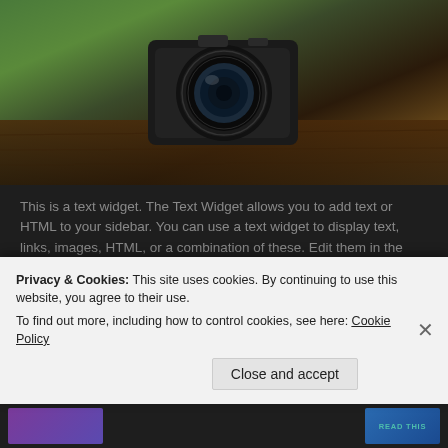[Figure (photo): A camera lens sitting on a wooden surface with green background]
This is a text widget. The Text Widget allows you to add text or HTML to your sidebar. You can use a text widget to display text, links, images, HTML, or a combination of these. Edit them in the Widget section of the Customizer.
WHAT'S HOT
BEAUTIFUL MESS – A Kasey Lane Review &
Privacy & Cookies: This site uses cookies. By continuing to use this website, you agree to their use.
To find out more, including how to control cookies, see here: Cookie Policy
Close and accept